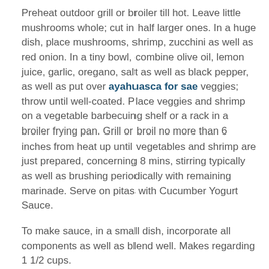Preheat outdoor grill or broiler till hot. Leave little mushrooms whole; cut in half larger ones. In a huge dish, place mushrooms, shrimp, zucchini as well as red onion. In a tiny bowl, combine olive oil, lemon juice, garlic, oregano, salt as well as black pepper, as well as put over ayahuasca for sae veggies; throw until well-coated. Place veggies and shrimp on a vegetable barbecuing shelf or a rack in a broiler frying pan. Grill or broil no more than 6 inches from heat up until vegetables and shrimp are just prepared, concerning 8 mins, stirring typically as well as brushing periodically with remaining marinade. Serve on pitas with Cucumber Yogurt Sauce.
To make sauce, in a small dish, incorporate all components as well as blend well. Makes regarding 1 1/2 cups.
Return: 4 servings